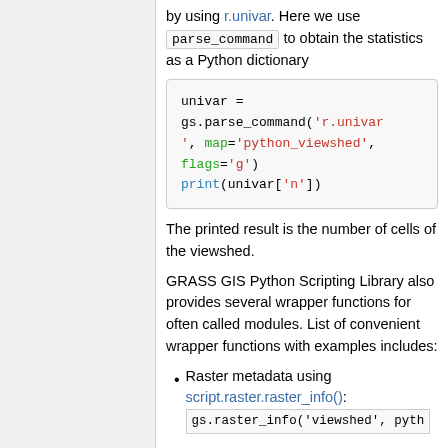by using r.univar. Here we use parse_command to obtain the statistics as a Python dictionary
[Figure (screenshot): Code block showing Python code: univar = gs.parse_command('r.univar', map='python_viewshed', flags='g') print(univar['n'])]
The printed result is the number of cells of the viewshed.
GRASS GIS Python Scripting Library also provides several wrapper functions for often called modules. List of convenient wrapper functions with examples includes:
Raster metadata using script.raster.raster_info():
gs.raster_info('viewshed', pyth...